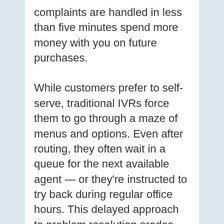complaints are handled in less than five minutes spend more money with you on future purchases.
While customers prefer to self-serve, traditional IVRs force them to go through a maze of menus and options. Even after routing, they often wait in a queue for the next available agent — or they’re instructed to try back during regular office hours. This delayed approach to problem resolution erodes customer satisfaction.
Artificial intelligence (AI) eliminates many of these issues. AI better handles tasks that human agents